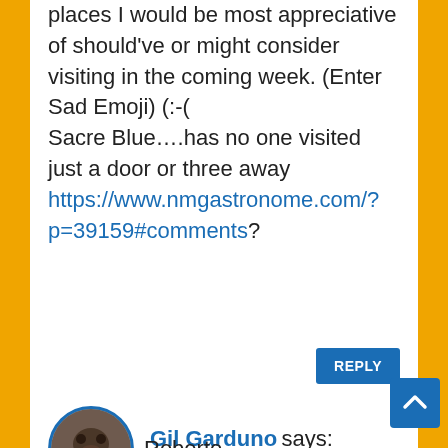places I would be most appreciative of should've or might consider visiting in the coming week. (Enter Sad Emoji) (:-(  Sacre Blue….has no one visited just a door or three away https://www.nmgastronome.com/?p=39159#comments?
REPLY
Gil Garduno says:
September 22, 2017 at 8:45 pm
Roberto